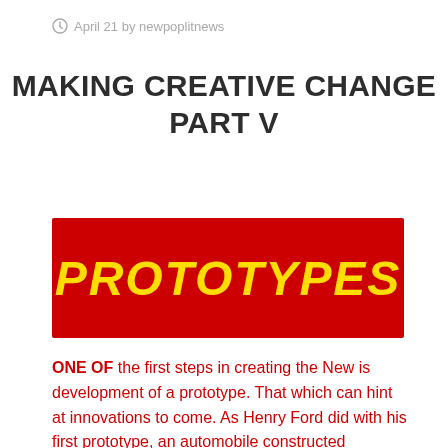April 21 by newpoplitnews
MAKING CREATIVE CHANGE PART V
[Figure (illustration): Red banner with bold yellow italic text reading PROTOTYPES]
ONE OF the first steps in creating the New is development of a prototype. That which can hint at innovations to come. As Henry Ford did with his first prototype, an automobile constructed